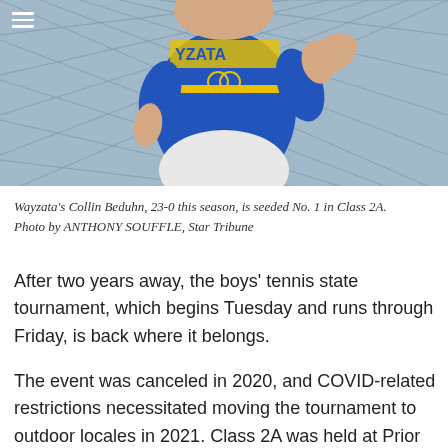[Figure (photo): A tennis player in a blue and yellow Wayzata uniform mid-swing, photographed by Anthony Souffle of the Star Tribune.]
Wayzata's Collin Beduhn, 23-0 this season, is seeded No. 1 in Class 2A. Photo by ANTHONY SOUFFLE, Star Tribune
After two years away, the boys' tennis state tournament, which begins Tuesday and runs through Friday, is back where it belongs.
The event was canceled in 2020, and COVID-related restrictions necessitated moving the tournament to outdoor locales in 2021. Class 2A was held at Prior Lake High School, Class 1A in St. Cloud.